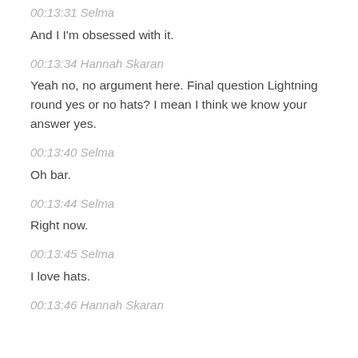00:13:31 Selma
And I I'm obsessed with it.
00:13:34 Hannah Skaran
Yeah no, no argument here. Final question Lightning round yes or no hats? I mean I think we know your answer yes.
00:13:40 Selma
Oh bar.
00:13:44 Selma
Right now.
00:13:45 Selma
I love hats.
00:13:46 Hannah Skaran